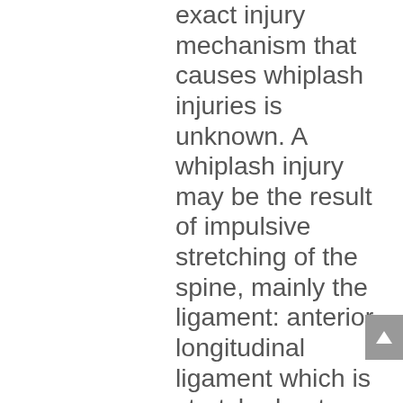exact injury mechanism that causes whiplash injuries is unknown. A whiplash injury may be the result of impulsive stretching of the spine, mainly the ligament: anterior longitudinal ligament which is stretched or tears, as the head snaps forward and then back again causing a whiplash injury. Whiplash may be caused by any motion similar to a rear-end collision in a motor vehicle, such as may take place on a roller coaster  or other rides at an amusement park, sports injuries such as skiing accidents, other modes of transportation such as airplane travel, or from being hit, kicked or shaken. Shaken baby syndrome can result in a whiplash injury. Whiplash Symptoms Symptoms reported by sufferers include: pain and aching to the